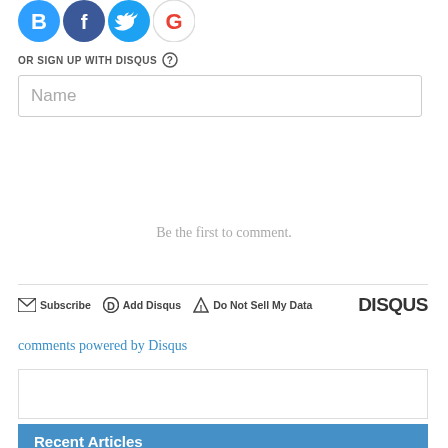[Figure (logo): Social login icons: Disqus (blue circle with B), Facebook (dark blue with f), Twitter (light blue with bird), Google (G logo)]
OR SIGN UP WITH DISQUS ?
Name
Be the first to comment.
Subscribe  Add Disqus  Do Not Sell My Data  DISQUS
comments powered by Disqus
[Figure (other): Empty advertisement box]
Recent Articles